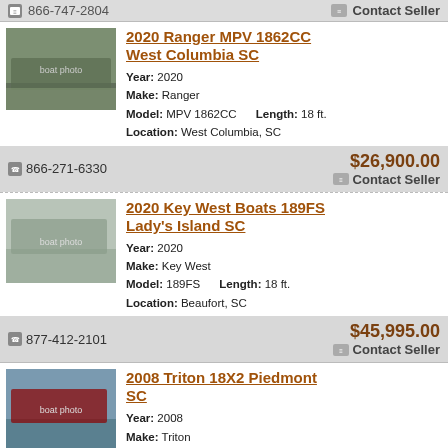Contact Seller (top partial strip)
2020 Ranger MPV 1862CC West Columbia SC
Year: 2020
Make: Ranger
Model: MPV 1862CC    Length: 18 ft.
Location: West Columbia, SC
866-271-6330   $26,900.00   Contact Seller
2020 Key West Boats 189FS Lady's Island SC
Year: 2020
Make: Key West
Model: 189FS    Length: 18 ft.
Location: Beaufort, SC
877-412-2101   $45,995.00   Contact Seller
2008 Triton 18X2 Piedmont SC
Year: 2008
Make: Triton
Model: 18X2    Length: 18 ft.
Location: Greenville, SC